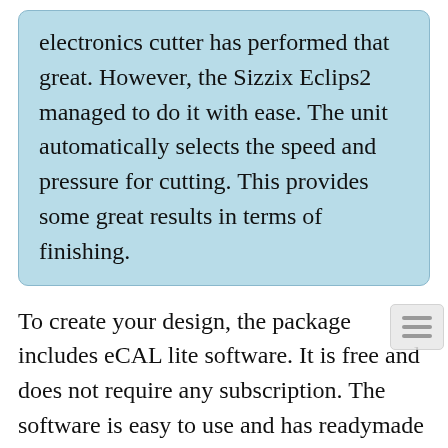electronics cutter has performed that great. However, the Sizzix Eclips2 managed to do it with ease. The unit automatically selects the speed and pressure for cutting. This provides some great results in terms of finishing.
To create your design, the package includes eCAL lite software. It is free and does not require any subscription. The software is easy to use and has readymade templates to make the designing process much easier. The only thing we had an issue with is, it is slow and makes a sound if tougher material is exposed to it.